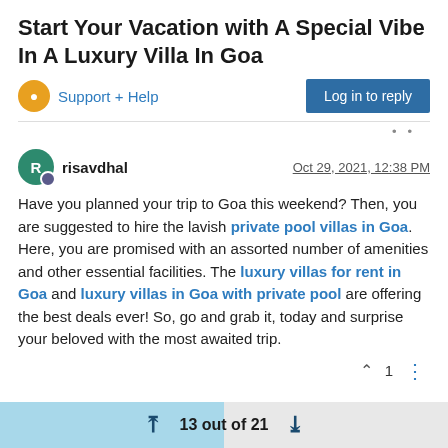Start Your Vacation with A Special Vibe In A Luxury Villa In Goa
Support + Help
Log in to reply
risavdhal
Oct 29, 2021, 12:38 PM
Have you planned your trip to Goa this weekend? Then, you are suggested to hire the lavish private pool villas in Goa. Here, you are promised with an assorted number of amenities and other essential facilities. The luxury villas for rent in Goa and luxury villas in Goa with private pool are offering the best deals ever! So, go and grab it, today and surprise your beloved with the most awaited trip.
13 out of 21